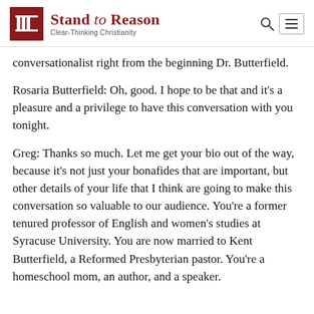Stand to Reason — Clear-Thinking Christianity
conversationalist right from the beginning Dr. Butterfield.
Rosaria Butterfield: Oh, good. I hope to be that and it's a pleasure and a privilege to have this conversation with you tonight.
Greg: Thanks so much. Let me get your bio out of the way, because it's not just your bonafides that are important, but other details of your life that I think are going to make this conversation so valuable to our audience. You're a former tenured professor of English and women's studies at Syracuse University. You are now married to Kent Butterfield, a Reformed Presbyterian pastor. You're a homeschool mom, an author, and a speaker.